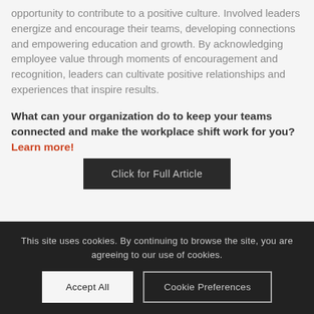opportunity to contribute to a positive culture. Involved leaders energize and encourage their teams, developing connections and empowering education and growth. By acknowledging employee value through moments of encouragement and recognition, leaders can cultivate positive relationships and experiences that inspire results.
What can your organization do to keep your teams connected and make the workplace shift work for you? Learn more!
Click for Full Article
This site uses cookies. By continuing to browse the site, you are agreeing to our use of cookies.
Accept All
Cookie Preferences